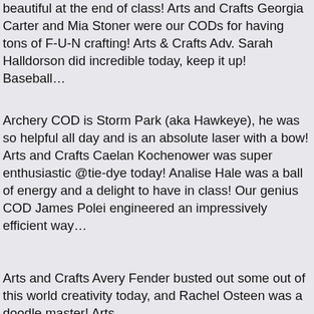beautiful at the end of class! Arts and Crafts Georgia Carter and Mia Stoner were our CODs for having tons of F-U-N crafting! Arts & Crafts Adv. Sarah Halldorson did incredible today, keep it up! Baseball…
Archery COD is Storm Park (aka Hawkeye), he was so helpful all day and is an absolute laser with a bow! Arts and Crafts Caelan Kochenower was super enthusiastic @tie-dye today! Analise Hale was a ball of energy and a delight to have in class! Our genius COD James Polei engineered an impressively efficient way…
Arts and Crafts Avery Fender busted out some out of this world creativity today, and Rachel Osteen was a doodle master! Arts